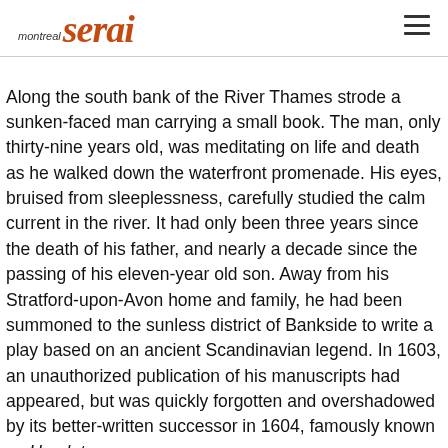montreal serai
Along the south bank of the River Thames strode a sunken-faced man carrying a small book. The man, only thirty-nine years old, was meditating on life and death as he walked down the waterfront promenade. His eyes, bruised from sleeplessness, carefully studied the calm current in the river. It had only been three years since the death of his father, and nearly a decade since the passing of his eleven-year old son. Away from his Stratford-upon-Avon home and family, he had been summoned to the sunless district of Bankside to write a play based on an ancient Scandinavian legend. In 1603, an unauthorized publication of his manuscripts had appeared, but was quickly forgotten and overshadowed by its better-written successor in 1604, famously known as Hamlet.